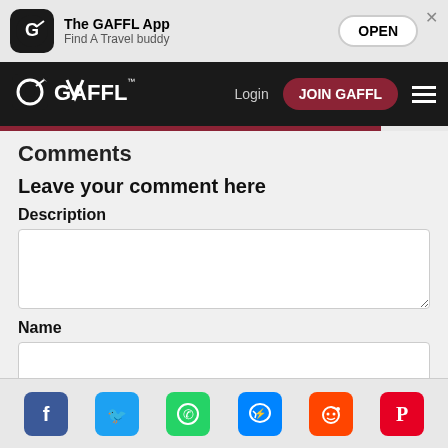[Figure (screenshot): App store banner for The GAFFL App with logo, name, tagline 'Find A Travel buddy', OPEN button, and close X]
The GAFFL App — Login JOIN GAFFL navigation bar
Comments
Leave your comment here
Description
Name
[Figure (infographic): Social share bar with Facebook, Twitter, WhatsApp, Messenger, Reddit, Pinterest icons]